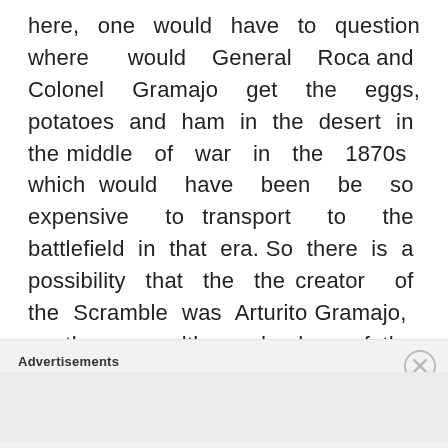here, one would have to question where would General Roca and Colonel Gramajo get the eggs, potatoes and ham in the desert in the middle of war in the 1870s which would have been be so expensive to transport to the battlefield in that era. So there is a possibility that the the creator of the Scramble was Arturito Gramajo, another wealthy dandy of the 1930s and possibly the son of Arturo Gramajo, whose life came to
Advertisements